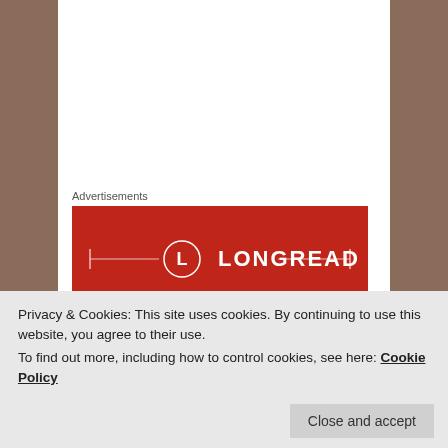Advertisements
[Figure (logo): Longreads logo — white text 'LONGREADS' with circle 'L' emblem on dark red background with decorative horizontal lines]
2. Plant your strong feet upon the earth
3. Sit down
4. Know that the moon is there behind you
Privacy & Cookies: This site uses cookies. By continuing to use this website, you agree to their use.
To find out more, including how to control cookies, see here: Cookie Policy